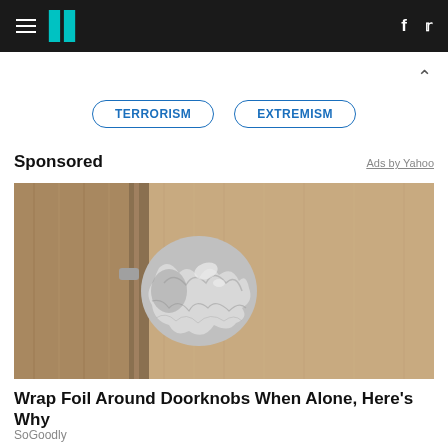HuffPost — hamburger menu, logo, social icons (f, Twitter)
TERRORISM
EXTREMISM
Sponsored
Ads by Yahoo
[Figure (photo): Photo of a door knob wrapped in aluminum foil, mounted on a wooden door with wood grain texture visible.]
Wrap Foil Around Doorknobs When Alone, Here's Why
SoGoodly